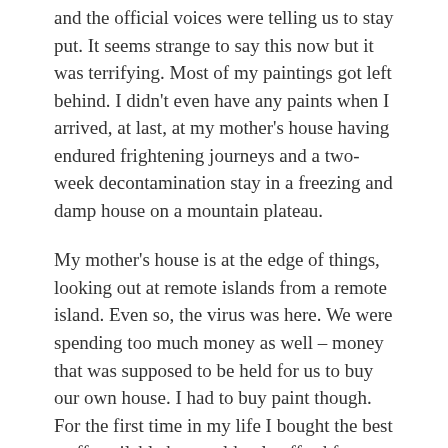and the official voices were telling us to stay put. It seems strange to say this now but it was terrifying. Most of my paintings got left behind. I didn't even have any paints when I arrived, at last, at my mother's house having endured frightening journeys and a two-week decontamination stay in a freezing and damp house on a mountain plateau.
My mother's house is at the edge of things, looking out at remote islands from a remote island. Even so, the virus was here. We were spending too much money as well – money that was supposed to be held for us to buy our own house. I had to buy paint though. For the first time in my life I bought the best stuff available but could only afford four tubes. I also ordered ten pieces of hardboard and some gesso, plus two knives. This became my lockdown painting kit. I have never painted with knives before, other than to do the odd final touch to a plein air painting when I'd used up all my brushes and was in a hurry. It turns out that painting with knives is